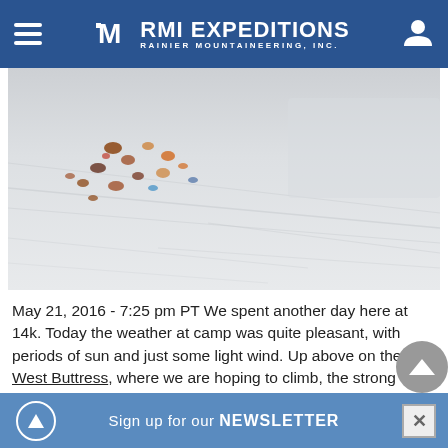RMI EXPEDITIONS - RAINIER MOUNTAINEERING, INC.
[Figure (photo): Aerial or overhead view of a snowy landscape with scattered colorful rocks or gear visible on the white snow surface, with wind-blown snow patterns visible.]
May 21, 2016 - 7:25 pm PT We spent another day here at 14k. Today the weather at camp was quite pleasant, with periods of sun and just some light wind. Up above on the West Buttress, where we are hoping to climb, the strong winds persisted today. We'll see what tomorrow brings, as the weather forecast is still calling for high winds the next few days. We'll keep you posted. RMI Guide Mike Walter
ON THE MAP
Sign up for our NEWSLETTER